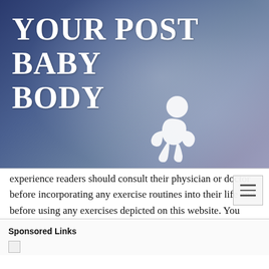[Figure (illustration): Website header banner with blue/purple abstract background, white large serif text reading 'YOUR POST BABY BODY', white baby crawling silhouette in center, and hamburger menu button (three horizontal lines) in top-right area]
experience readers should consult their physician or doctor before incorporating any exercise routines into their life and before using any exercises depicted on this website. You should not take the advice given here over the advice of a licensed healthcare provider.
Sponsored Links
[Figure (illustration): Broken/missing image placeholder icon]